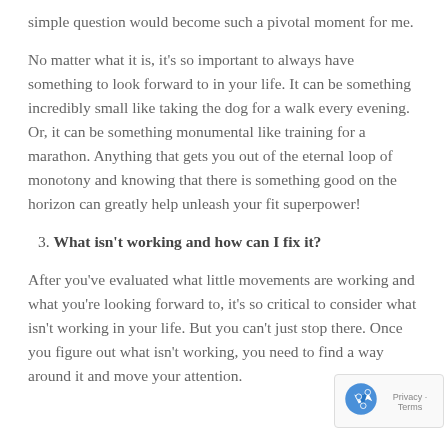simple question would become such a pivotal moment for me.
No matter what it is, it's so important to always have something to look forward to in your life. It can be something incredibly small like taking the dog for a walk every evening. Or, it can be something monumental like training for a marathon. Anything that gets you out of the eternal loop of monotony and knowing that there is something good on the horizon can greatly help unleash your fit superpower!
3. What isn't working and how can I fix it?
After you've evaluated what little movements are working and what you're looking forward to, it's so critical to consider what isn't working in your life. But you can't just stop there. Once you figure out what isn't working, you need to find a way around it and move your attention.